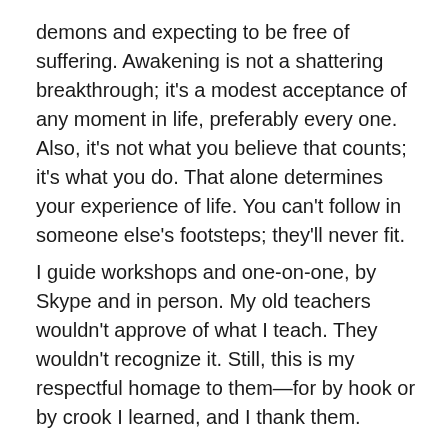demons and expecting to be free of suffering. Awakening is not a shattering breakthrough; it's a modest acceptance of any moment in life, preferably every one. Also, it's not what you believe that counts; it's what you do. That alone determines your experience of life. You can't follow in someone else's footsteps; they'll never fit.
I guide workshops and one-on-one, by Skype and in person. My old teachers wouldn't approve of what I teach. They wouldn't recognize it. Still, this is my respectful homage to them—for by hook or by crook I learned, and I thank them.